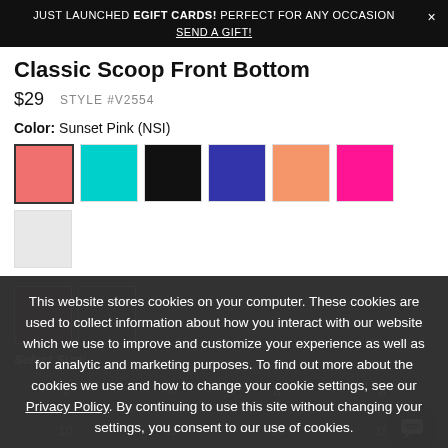JUST LAUNCHED EGIFT CARDS! PERFECT FOR ANY OCCASION × SEND A GIFT!
Classic Scoop Front Bottom
$29   STYLE #V2554
Color: Sunset Pink (NSI)
[Figure (other): Color swatches: salmon/coral, cyan/turquoise, black, dark blue/cobalt, peach/coral, hot pink/magenta, light gray, dark red/maroon, navy]
This website stores cookies on your computer. These cookies are used to collect information about how you interact with our website which we use to improve and customize your experience as well as for analytic and marketing purposes. To find out more about the cookies we use and how to change your cookie settings, see our Privacy Policy. By continuing to use this site without changing your settings, you consent to our use of cookies.
I AGREE
Select Size:
| 2 | 4 | 6 | 8 |
| 10 | 12 | 14 | 16 |
Select Quantity: